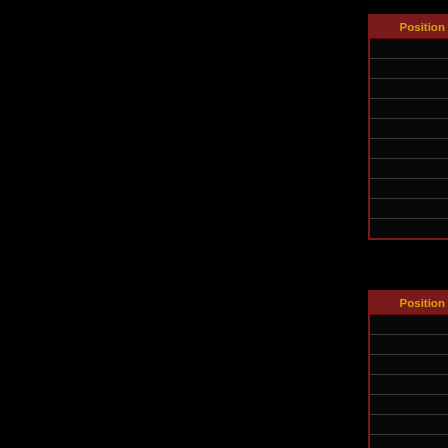| Position | Name |
| --- | --- |
| 1 | Boia |
| 2 | TheDarkestSoul |
| 3 | PUMAS |
| 4 | ramanga |
| 5 | freed0m |
| 6 | kilu |
| 7 | Muerte6 |
| 8 | dovahkiin |
| 9 | DarkTavito |
| 10 | JarlofWhiterun |
| Position | Name |
| --- | --- |
| 1 | inkubus |
| 2 | daja |
| 3 | kilu |
| 4 | DarkTavito |
| 5 | Lago |
| 6 | Jarlofsolitude |
| 7 | molly |
| 8 | orcking |
| 9 | cjdksla |
| 10 | Boia |